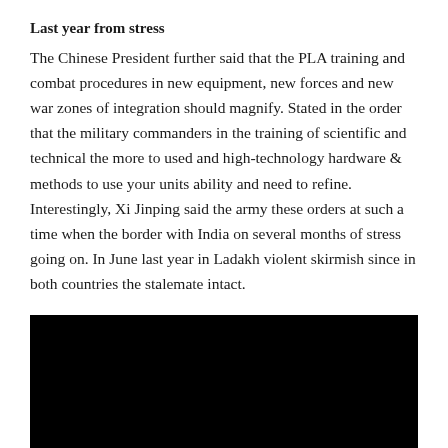Last year from stress
The Chinese President further said that the PLA training and combat procedures in new equipment, new forces and new war zones of integration should magnify. Stated in the order that the military commanders in the training of scientific and technical the more to used and high-technology hardware & methods to use your units ability and need to refine. Interestingly, Xi Jinping said the army these orders at such a time when the border with India on several months of stress going on. In June last year in Ladakh violent skirmish since in both countries the stalemate intact.
[Figure (photo): Black rectangular image/photo area at the bottom of the page]